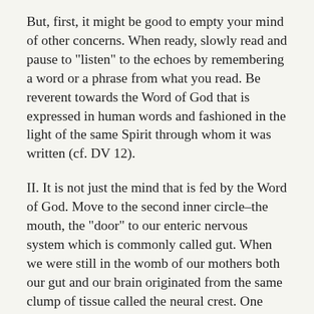But, first, it might be good to empty your mind of other concerns. When ready, slowly read and pause to "listen" to the echoes by remembering a word or a phrase from what you read. Be reverent towards the Word of God that is expressed in human words and fashioned in the light of the same Spirit through whom it was written (cf. DV 12).
II. It is not just the mind that is fed by the Word of God. Move to the second inner circle–the mouth, the "door" to our enteric nervous system which is commonly called gut. When we were still in the womb of our mothers both our gut and our brain originated from the same clump of tissue called the neural crest. One section turned into the brain between our ears and another section turned into the "second brain" or one's gut where one half of all our nerve cells are located. One can "think" through the gut. Our capacity for feeling and